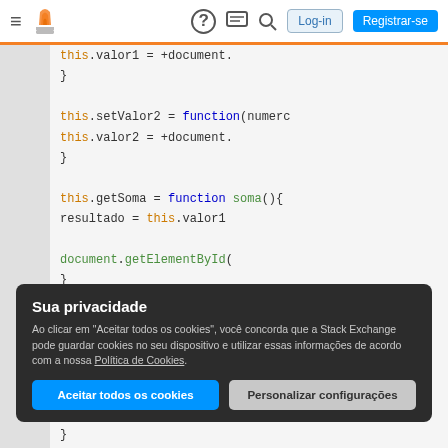[Figure (screenshot): Stack Overflow navigation bar with hamburger menu, logo, help icon, chat icon, search icon, Log-in and Registrar-se buttons]
[Figure (screenshot): Code editor showing JavaScript code with syntax highlighting: this.setValor2, this.getSoma, this.getSubtracao functions]
Sua privacidade
Ao clicar em "Aceitar todos os cookies", você concorda que a Stack Exchange pode guardar cookies no seu dispositivo e utilizar essas informações de acordo com a nossa Política de Cookies.